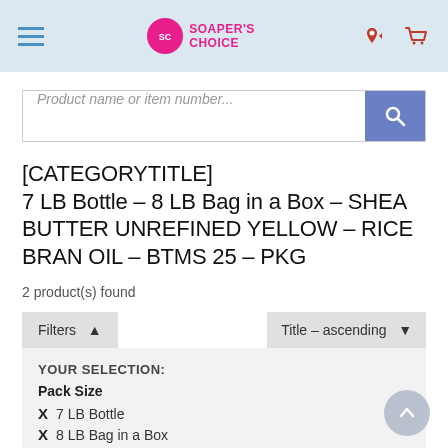SOAPER'S CHOICE
Product name or item number...
[CATEGORYTITLE] 7 LB Bottle - 8 LB Bag in a Box - SHEA BUTTER UNREFINED YELLOW - RICE BRAN OIL - BTMS 25 - PKG
2 product(s) found
Filters  Title - ascending
YOUR SELECTION:
Pack Size
X  7 LB Bottle
X  8 LB Bag in a Box